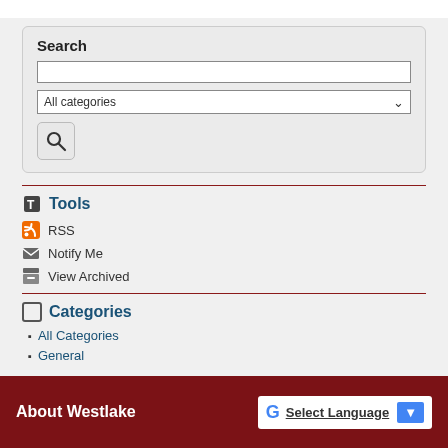Search
All categories
Tools
RSS
Notify Me
View Archived
Categories
All Categories
General
About Westlake
Select Language